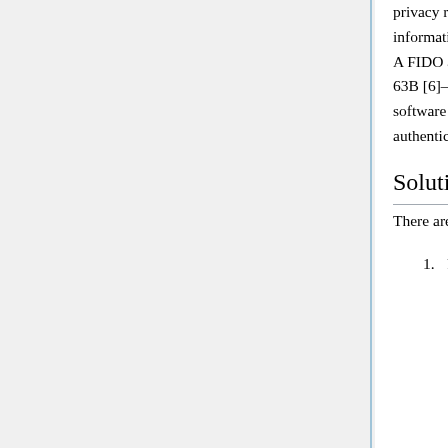privacy reasons, the FIDO standards explicitly disallow the extraction of biometric information from the client device, so they cannot support server-side biometric verification. A FIDO authenticator could meet the requirements from NIST Special Publication (SP) 800-63B [6]—part of the Digital Identity Guidelines—for single or multi-factor hardware or software cryptographic authenticators, depending on the characteristics of the specific authenticator.
Solutions
There are two ways to get a trusted signer on the phone or other user computing device.
1. Register an app that is trusted. If